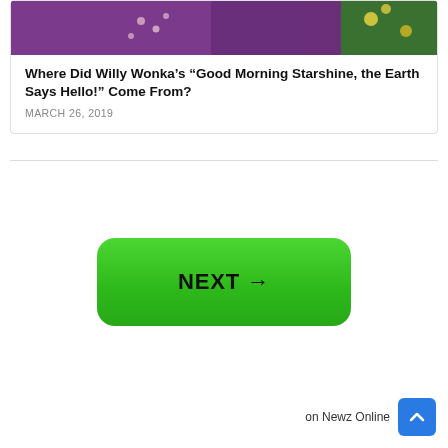[Figure (photo): Partial photo of a person wearing a purple outfit with flowers, cropped at top of card]
Where Did Willy Wonka’s “Good Morning Starshine, the Earth Says Hello!” Come From?
MARCH 26, 2019
[Figure (other): Green rounded button with bold text NEXT and right arrow]
on Newz Online